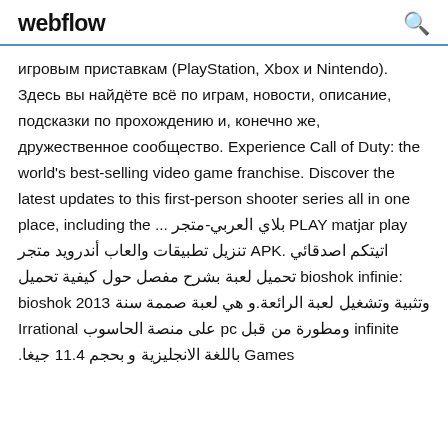webflow
игровым приставкам (PlayStation, Xbox и Nintendo). Здесь вы найдёте всё по играм, новости, описание, подсказки по прохождению и, конечно же, дружественное сообщество. Experience Call of Duty: the world's best-selling video game franchise. Discover the latest updates to this first-person shooter series all in one place, including the ... -متجر بلاي العربي PLAY matjar play تنزيل تطبيقات والعاب أندرويد متجر APK. اتيتكم اصدقائي :bioshok infinie تحميل لعبة بشرح مفصل حول كيفية تحميل وتثبية وتشغيل لعبة الرائعة.و هي لعبة صممة سنة 2013 bioshok infinite ومطورة من قبل pc على منصة الحاسوب Irrational Games باللغة الانجليزية و بحجم 11.4 جيغا.